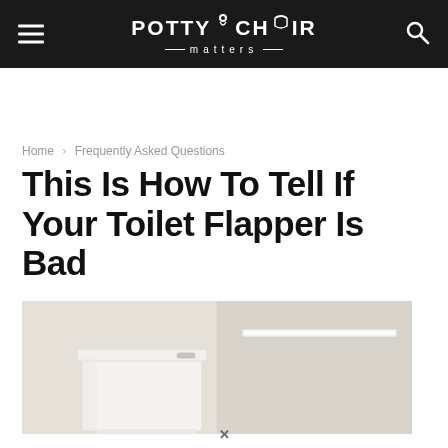POTTY CHAIR matters
Home › Frequently Asked Questions
This Is How To Tell If Your Toilet Flapper Is Bad
[Figure (photo): Photo of a toilet tank against a white wall with a fluorescent light fixture visible above it]